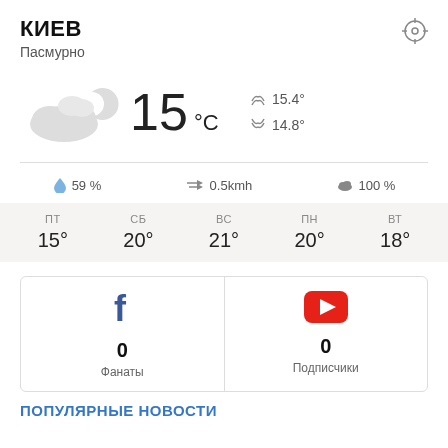КИЕВ
Пасмурно
[Figure (illustration): Cloudy night weather icon with cloud and moon]
15 °C
15.4°
14.8°
59 %   0.5kmh   100 %
| ПТ | СБ | ВС | ПН | ВТ |
| --- | --- | --- | --- | --- |
| 15° | 20° | 21° | 20° | 18° |
[Figure (logo): Facebook logo icon, blue]
0
Фанаты
[Figure (logo): YouTube logo icon, red]
0
Подписчики
ПОПУЛЯРНЫЕ НОВОСТИ